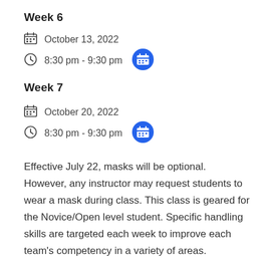Week 6
October 13, 2022
8:30 pm - 9:30 pm
Week 7
October 20, 2022
8:30 pm - 9:30 pm
Effective July 22, masks will be optional. However, any instructor may request students to wear a mask during class. This class is geared for the Novice/Open level student. Specific handling skills are targeted each week to improve each team's competency in a variety of areas.